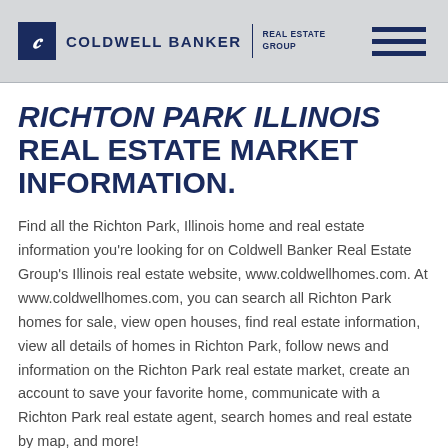Coldwell Banker Real Estate Group
RICHTON PARK ILLINOIS REAL ESTATE MARKET INFORMATION.
Find all the Richton Park, Illinois home and real estate information you're looking for on Coldwell Banker Real Estate Group's Illinois real estate website, www.coldwellhomes.com. At www.coldwellhomes.com, you can search all Richton Park homes for sale, view open houses, find real estate information, view all details of homes in Richton Park, follow news and information on the Richton Park real estate market, create an account to save your favorite home, communicate with a Richton Park real estate agent, search homes and real estate by map, and more!
Coldwell Banker Real Estate Group has real estate agents that